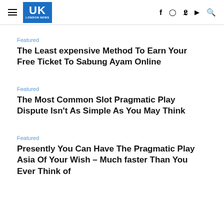UK LONDON NEWS
Featured
The Least expensive Method To Earn Your Free Ticket To Sabung Ayam Online
Featured
The Most Common Slot Pragmatic Play Dispute Isn't As Simple As You May Think
Featured
Presently You Can Have The Pragmatic Play Asia Of Your Wish – Much faster Than You Ever Think of